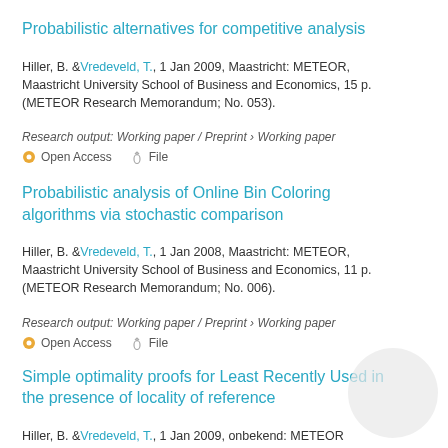Probabilistic alternatives for competitive analysis
Hiller, B. & Vredeveld, T., 1 Jan 2009, Maastricht: METEOR, Maastricht University School of Business and Economics, 15 p. (METEOR Research Memorandum; No. 053).
Research output: Working paper / Preprint › Working paper
Open Access   File
Probabilistic analysis of Online Bin Coloring algorithms via stochastic comparison
Hiller, B. & Vredeveld, T., 1 Jan 2008, Maastricht: METEOR, Maastricht University School of Business and Economics, 11 p. (METEOR Research Memorandum; No. 006).
Research output: Working paper / Preprint › Working paper
Open Access   File
Simple optimality proofs for Least Recently Used in the presence of locality of reference
Hiller, B. & Vredeveld, T., 1 Jan 2009, onbekend: METEOR